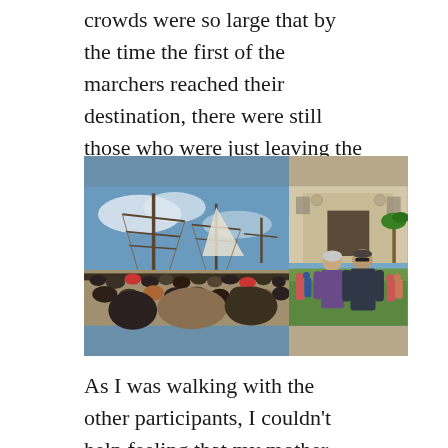crowds were so large that by the time the first of the marchers reached their destination, there were still those who were just leaving the staging area.
[Figure (photo): Two side-by-side photos: left shows a large crowd at a waterfront with tall sailing ship masts visible against a blue sky; right shows two people (a woman and a man) smiling in front of an ornate building facade with crowds in the background.]
As I was walking with the other participants, I couldn't help feeling that my mother and father were there right beside me. Many years ago, I joined them on a protest march.